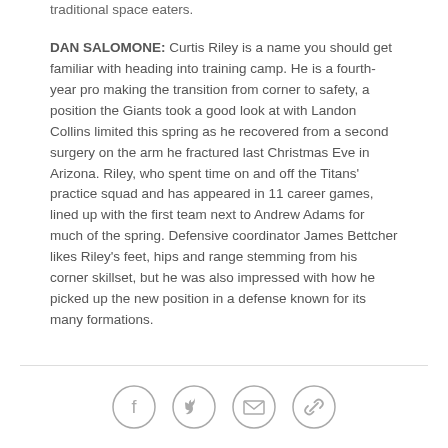traditional space eaters.
DAN SALOMONE: Curtis Riley is a name you should get familiar with heading into training camp. He is a fourth-year pro making the transition from corner to safety, a position the Giants took a good look at with Landon Collins limited this spring as he recovered from a second surgery on the arm he fractured last Christmas Eve in Arizona. Riley, who spent time on and off the Titans' practice squad and has appeared in 11 career games, lined up with the first team next to Andrew Adams for much of the spring. Defensive coordinator James Bettcher likes Riley's feet, hips and range stemming from his corner skillset, but he was also impressed with how he picked up the new position in a defense known for its many formations.